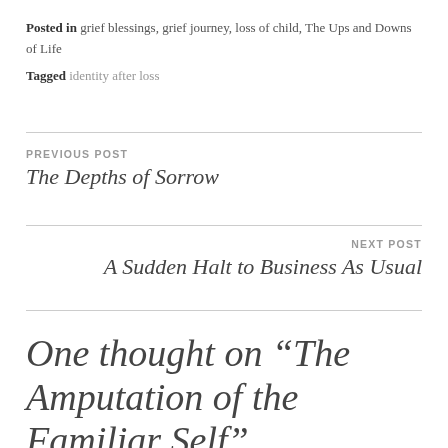Posted in grief blessings, grief journey, loss of child, The Ups and Downs of Life
Tagged identity after loss
PREVIOUS POST
The Depths of Sorrow
NEXT POST
A Sudden Halt to Business As Usual
One thought on “The Amputation of the Familiar Self”